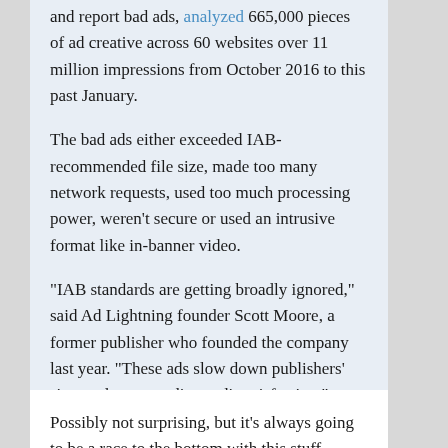and report bad ads, analyzed 665,000 pieces of ad creative across 60 websites over 11 million impressions from October 2016 to this past January.
The bad ads either exceeded IAB-recommended file size, made too many network requests, used too much processing power, weren’t secure or used an intrusive format like in-banner video.
“IAB standards are getting broadly ignored,” said Ad Lightning founder Scott Moore, a former publisher who founded the company last year. “These ads slow down publishers’ sites and cause audience dissatisfaction.”
«
Possibly not surprising, but it’s always going to be a race to the bottom with this stuff.